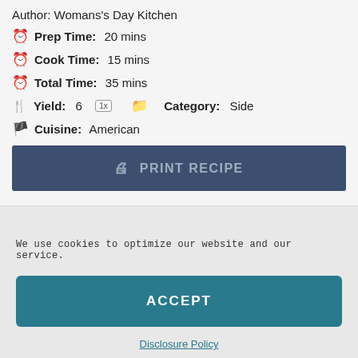Author: Womans's Day Kitchen
Prep Time: 20 mins
Cook Time: 15 mins
Total Time: 35 mins
Yield: 6  1x  Category: Side
Cuisine: American
PRINT RECIPE
We use cookies to optimize our website and our service.
ACCEPT
Disclosure Policy